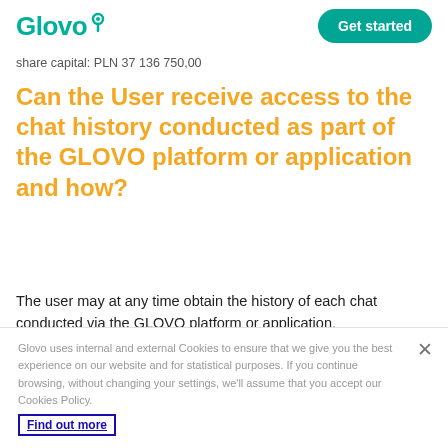Glovo | Get started
share capital: PLN 37 136 750,00
Can the User receive access to the chat history conducted as part of the GLOVO platform or application and how?
The user may at any time obtain the history of each chat conducted via the GLOVO platform or application.
The chat history is made available immediately after receiving
Glovo uses internal and external Cookies to ensure that we give you the best experience on our website and for statistical purposes. If you continue browsing, without changing your settings, we'll assume that you accept our Cookies Policy. Find out more